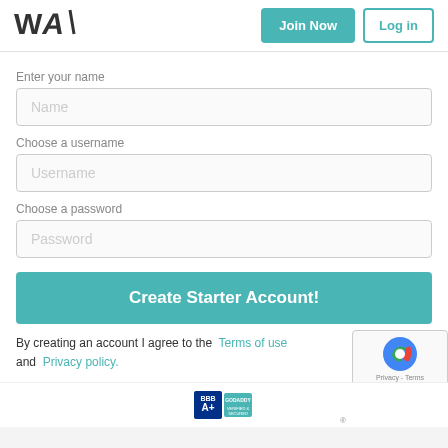[Figure (logo): WA logo - stylized letters W and A in dark color]
Join Now
Log in
Enter your name
Name
Choose a username
Username
Choose a password
Password
Create Starter Account!
By creating an account I agree to the Terms of use and Privacy policy.
[Figure (logo): reCAPTCHA logo with Privacy - Terms text]
[Figure (logo): BBB A+ badge and GoDaddy Verified and Secured badge]